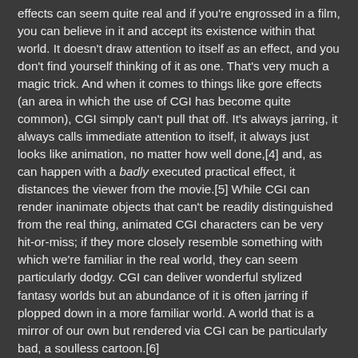effects can seem quite real and if you're engrossed in a film, you can believe in it and accept its existence within that world. It doesn't draw attention to itself as an effect, and you don't find yourself thinking of it as one. That's very much a magic trick. And when it comes to things like gore effects (an area in which the use of CGI has become quite common), CGI simply can't pull that off. It's always jarring, it always calls immediate attention to itself, it always just looks like animation, no matter how well done,[4] and, as can happen with a badly executed practical effect, it distances the viewer from the movie.[5] While CGI can render inanimate objects that can't be readily distinguished from the real thing, animated CGI characters can be very hit-or-miss; if they more closely resemble something with which we're familiar in the real world, they can seem particularly dodgy. CGI can deliver wonderful stylized fantasy worlds but an abundance of it is often jarring if plopped down in a more familiar world. A world that is a mirror of our own but rendered via CGI can be particularly bad, a soulless cartoon.[6]
These and other limitations are often ignored by filmmakers, particularly in high-profile Hollywood releases.